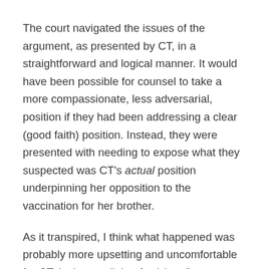The court navigated the issues of the argument, as presented by CT, in a straightforward and logical manner. It would have been possible for counsel to take a more compassionate, less adversarial, position if they had been addressing a clear (good faith) position. Instead, they were presented with needing to expose what they suspected was CT's actual position underpinning her opposition to the vaccination for her brother.
As it transpired, I think what happened was probably more upsetting and uncomfortable for CT, in the spotlight of a (virtual) courtroom with observers present, than had she simply stated her beliefs outright.
Of course, she would have known that to do so would